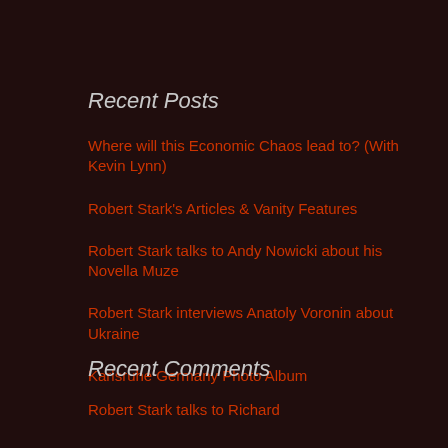Recent Posts
Where will this Economic Chaos lead to? (With Kevin Lynn)
Robert Stark's Articles & Vanity Features
Robert Stark talks to Andy Nowicki about his Novella Muze
Robert Stark interviews Anatoly Voronin about Ukraine
Karlsruhe Germany Photo Album
Recent Comments
Robert Stark talks to Richard